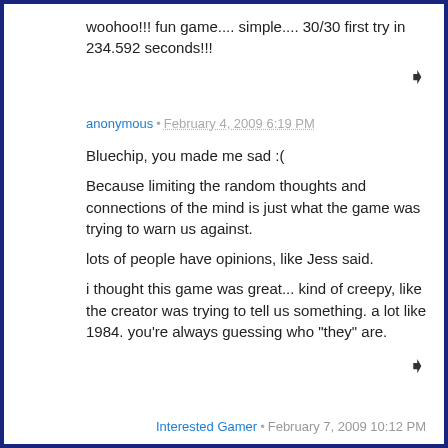woohoo!!! fun game.... simple.... 30/30 first try in 234.592 seconds!!!
anonymous • February 4, 2009 6:19 PM
Bluechip, you made me sad :(
Because limiting the random thoughts and connections of the mind is just what the game was trying to warn us against.
lots of people have opinions, like Jess said.
i thought this game was great... kind of creepy, like the creator was trying to tell us something. a lot like 1984. you're always guessing who "they" are.
Interested Gamer • February 7, 2009 10:12 PM